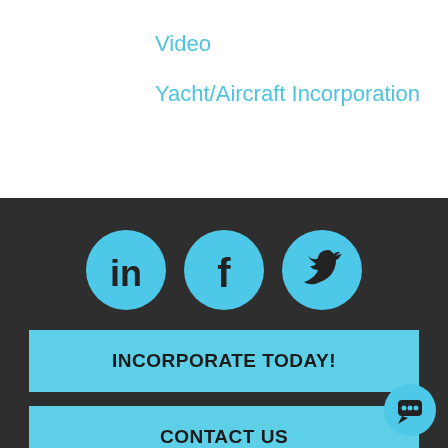Video
Yacht/Aircraft Incorporation
[Figure (infographic): Three circular social media icons in cyan/light blue on dark background: LinkedIn (in), Facebook (f), Twitter (bird icon)]
INCORPORATE TODAY!
CONTACT US